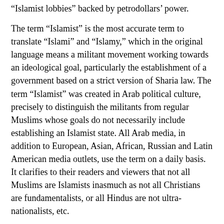“Islamist lobbies” backed by petrodollars’ power.
The term “Islamist” is the most accurate term to translate “Islami” and “Islamy,” which in the original language means a militant movement working towards an ideological goal, particularly the establishment of a government based on a strict version of Sharia law. The term “Islamist” was created in Arab political culture, precisely to distinguish the militants from regular Muslims whose goals do not necessarily include establishing an Islamist state. All Arab media, in addition to European, Asian, African, Russian and Latin American media outlets, use the term on a daily basis. It clarifies to their readers and viewers that not all Muslims are Islamists inasmuch as not all Christians are fundamentalists, or all Hindus are not ultra-nationalists, etc.
By eliminating the term “Islamist” from the media and political dictionary, the public will revert to using more ambiguous terms, such as Muslim radicals or extremists, among others, which would actually have two negative effects. One, it would blur the difference between moderates and extremists in the Muslim world, and two, it would provide the actual extremists or militants a cover within society. In short, by eliminating the term “Islamist” as identification of “militants,” we would be running the high risk of having the actual Islamists merging with Muslim society and claiming they are simply devout individuals. In the Arab world and the rest of the international community, a clear distinction has been